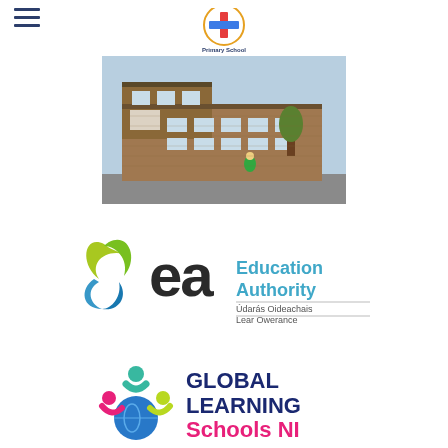[Figure (logo): School logo with cross and colorful text at center top]
[Figure (photo): Exterior photo of a brick primary school building with a sign and a person in a green jacket outside]
[Figure (logo): Education Authority (ea) logo with leaf/water symbol, Irish subtitle Údarás Oideachais, and Lear Owerance]
[Figure (logo): Global Learning Schools NI logo with colorful figure people symbol and bold dark blue text]